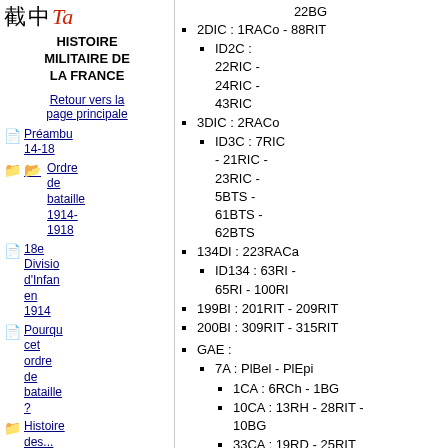Histoire militaire de la France
Retour vers la page principale
Préambu 14-18
Ordre de bataille 1914-1918
18e Division d'Infanterie en 1914
Pourquoi cet ordre de bataille ?
Histoire des...
22BG
2DIC : 1RACo - 88RIT
ID2C : 22RIC - 24RIC - 43RIC
3DIC : 2RACo
ID3C : 7RIC - 21RIC - 23RIC - 5BTS - 61BTS - 62BTS
134DI : 223RACa
ID134 : 63RI - 65RI - 100RI
199BI : 201RIT - 209RIT
200BI : 309RIT - 315RIT
GAE :
7A : PlBel - PlEpi
1CA : 6RCh - 1BG
10CA : 13RH - 28RIT - 10BG
33CA : 19RD - 25RIT
1DI : 15RACa
1D1 : 1RI - 201RI -